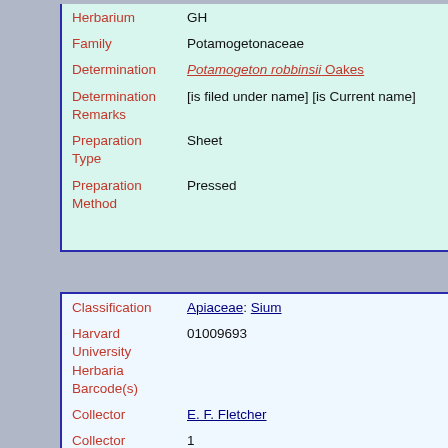| Herbarium | GH |
| Family | Potamogetonaceae |
| Determination | Potamogeton robbinsii Oakes |
| Determination Remarks | [is filed under name] [is Current name] |
| Preparation Type | Sheet |
| Preparation Method | Pressed |
| Classification | Apiaceae: Sium |
| Harvard University Herbaria Barcode(s) | 01009693 |
| Collector | E. F. Fletcher |
| Collector number | 1 |
| Country | United States of America |
| State | Massachusetts |